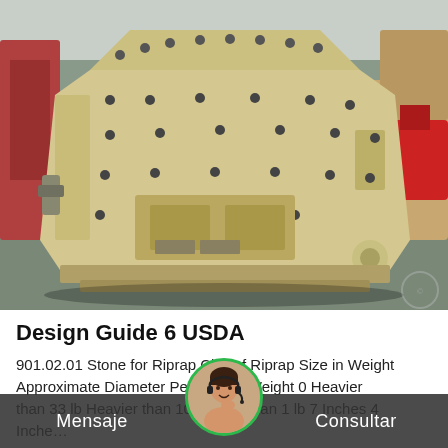[Figure (photo): Large industrial crusher/impact mill machine painted in beige/tan color, with numerous bolt holes and heavy steel construction, sitting on a factory floor. Red forklift visible in background to the right.]
Design Guide 6 USDA
901.02.01 Stone for Riprap Cl... of Riprap Size in Weight
Approximate Diameter Per...tal by Weight 0 Heavier than 33 lb Heavier than 10 lb Less than 1 lb 7 Inches 4 Inche...